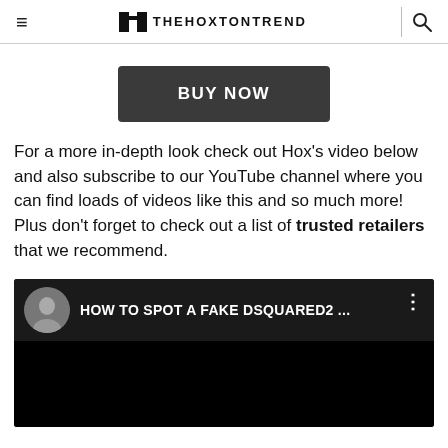≡  THEHOXTONTREND  🔍
BUY NOW
For a more in-depth look check out Hox's video below and also subscribe to our YouTube channel where you can find loads of videos like this and so much more! Plus don't forget to check out a list of trusted retailers that we recommend.
[Figure (screenshot): YouTube video embed with dark background showing 'HOW TO SPOT A FAKE DSQUARED2 ...' with a circular avatar on the left and a three-dot menu icon on the right.]